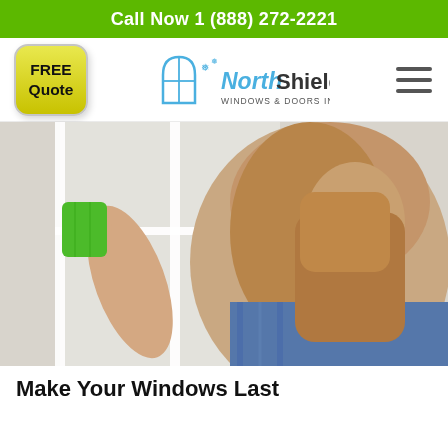Call Now 1 (888) 272-2221
[Figure (logo): FREE Quote button (yellow rounded rectangle) and NorthShield Windows & Doors Inc logo with snowflake icons, plus hamburger menu icon]
[Figure (photo): Woman cleaning a window with a green cloth, viewed from behind, wearing a plaid shirt, in a bright interior setting]
Make Your Windows Last